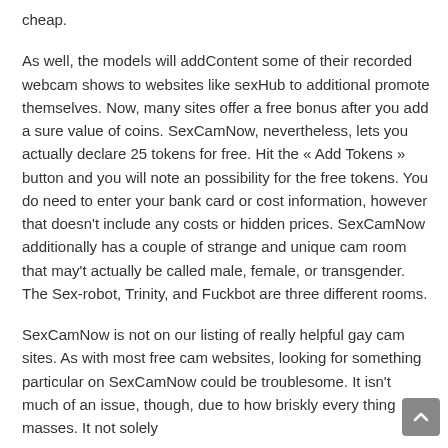cheap.
As well, the models will addContent some of their recorded webcam shows to websites like sexHub to additional promote themselves. Now, many sites offer a free bonus after you add a sure value of coins. SexCamNow, nevertheless, lets you actually declare 25 tokens for free. Hit the « Add Tokens » button and you will note an possibility for the free tokens. You do need to enter your bank card or cost information, however that doesn't include any costs or hidden prices. SexCamNow additionally has a couple of strange and unique cam room that may't actually be called male, female, or transgender. The Sex-robot, Trinity, and Fuckbot are three different rooms.
SexCamNow is not on our listing of really helpful gay cam sites. As with most free cam websites, looking for something particular on SexCamNow could be troublesome. It isn't much of an issue, though, due to how briskly every thing masses. It not solely